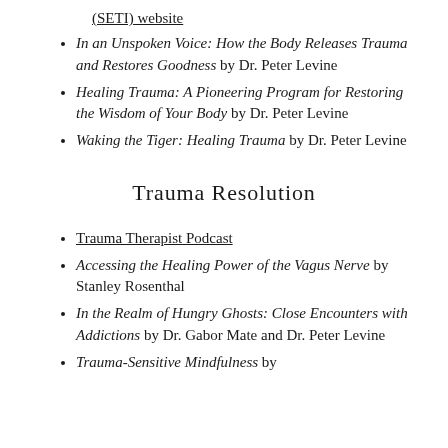(SETI) website
In an Unspoken Voice: How the Body Releases Trauma and Restores Goodness by Dr. Peter Levine
Healing Trauma: A Pioneering Program for Restoring the Wisdom of Your Body by Dr. Peter Levine
Waking the Tiger: Healing Trauma by Dr. Peter Levine
Trauma Resolution
Trauma Therapist Podcast
Accessing the Healing Power of the Vagus Nerve by Stanley Rosenthal
In the Realm of Hungry Ghosts: Close Encounters with Addictions by Dr. Gabor Mate and Dr. Peter Levine
Trauma-Sensitive Mindfulness by